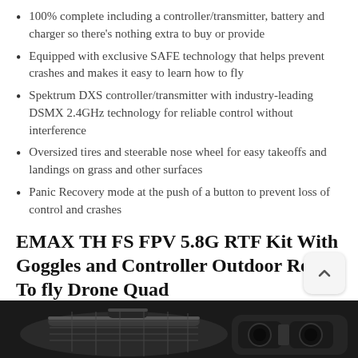100% complete including a controller/transmitter, battery and charger so there's nothing extra to buy or provide
Equipped with exclusive SAFE technology that helps prevent crashes and makes it easy to learn how to fly
Spektrum DXS controller/transmitter with industry-leading DSMX 2.4GHz technology for reliable control without interference
Oversized tires and steerable nose wheel for easy takeoffs and landings on grass and other surfaces
Panic Recovery mode at the push of a button to prevent loss of control and crashes
EMAX TH FS FPV 5.8G RTF Kit With Goggles and Controller Outdoor Ready To fly Drone Quad
[Figure (photo): Bottom strip showing partial images of a drone case/carrier on the left and FPV goggles on the right against a dark background]